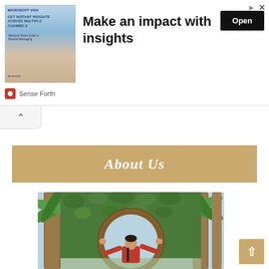[Figure (screenshot): Advertisement banner: image of a woman with text 'GET INSTANT INSIGHTS ACROSS MULTIPLE CHANNELS', headline 'Make an impact with insights', Open button, sponsored by Sense Forth]
[Figure (other): Collapse/chevron up button at top-left below ad banner]
About Us
[Figure (photo): Photo of a person in a red shirt with arms spread wide, standing inside a large woven circular arch covered in ivy, surrounded by palm trees]